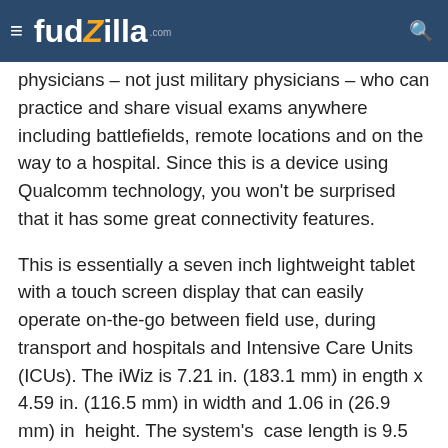fudzilla
physicians – not just military physicians – who can practice and share visual exams anywhere  including battlefields, remote locations and on the way to a hospital. Since this is a device using Qualcomm technology, you won't be surprised that it has some great connectivity features.
This is essentially a seven inch lightweight tablet with a touch screen display that can easily operate on-the-go between field use, during transport and hospitals and Intensive Care Units (ICUs). The iWiz is 7.21 in. (183.1 mm) in ength x 4.59 in. (116.5 mm) in width and 1.06 in (26.9 mm) in  height. The system's  case length is 9.5 in. (241.3 mm) x 4.8 inches width (123mm) x a height of 1.12 in. (28.6 mm).